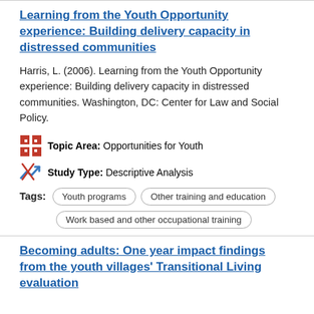Learning from the Youth Opportunity experience: Building delivery capacity in distressed communities
Harris, L. (2006). Learning from the Youth Opportunity experience: Building delivery capacity in distressed communities. Washington, DC: Center for Law and Social Policy.
Topic Area: Opportunities for Youth
Study Type: Descriptive Analysis
Tags: Youth programs | Other training and education | Work based and other occupational training
Becoming adults: One year impact findings from the youth villages' Transitional Living evaluation